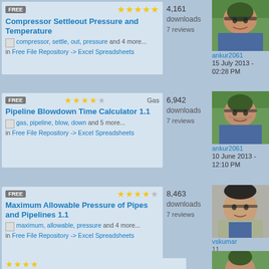FREE ★★★★★ Compressor Settleout Pressure and Temperature
4,161 downloads
7 reviews
compressor, settle, out, pressure and 4 more...
in Free File Repository -> Excel Spreadsheets
ankur2061
15 July 2013 - 02:28 PM
FREE ★★★★☆ Gas Pipeline Blowdown Time Calculator 1.1
6,942 downloads
7 reviews
gas, pipeline, blow, down and 5 more...
in Free File Repository -> Excel Spreadsheets
ankur2061
10 June 2013 - 12:10 PM
FREE ★★★★☆ Maximum Allowable Pressure of Pipes and Pipelines 1.1
8,463 downloads
7 reviews
maximum, allowable, pressure and 4 more...
in Free File Repository -> Excel Spreadsheets
vskumar
11
November 2013 - 02:22 PM